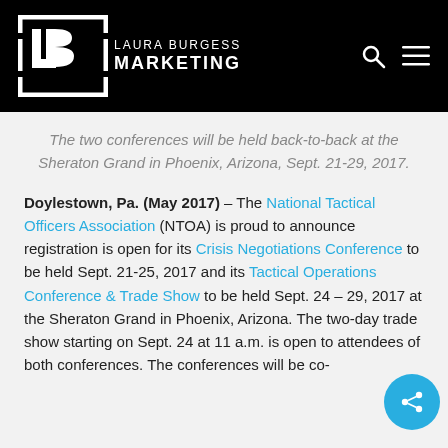[Figure (logo): Laura Burgess Marketing logo — white LB lettermark inside a white rectangular border, with 'LAURA BURGESS MARKETING' text to the right, on a black background header bar with search and menu icons.]
The two conferences will be held back-to-back at the Sheraton Grand in Phoenix, Arizona, Sept. 21-29, 2017.
Doylestown, Pa. (May 2017) – The National Tactical Officers Association (NTOA) is proud to announce registration is open for its Crisis Negotiations Conference to be held Sept. 21-25, 2017 and its Tactical Operations Conference & Trade Show to be held Sept. 24 – 29, 2017 at the Sheraton Grand in Phoenix, Arizona. The two-day trade show starting on Sept. 24 at 11 a.m. is open to attendees of both conferences. The conferences will be co-